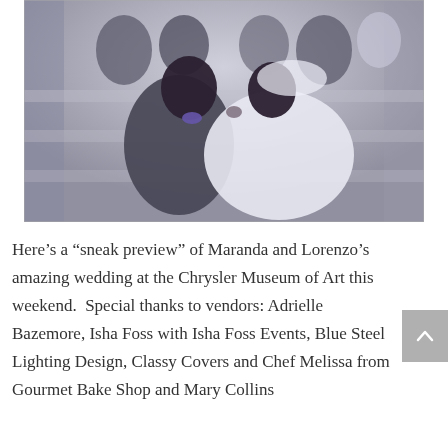[Figure (photo): Wedding photo of a bride and groom kissing while seated on stairs, surrounded by wedding party members covering their faces with their hands. The groom wears a grey suit with a purple bow tie; the bride wears a white wedding gown with veil. The setting appears to be an elegant venue with marble stairs.]
Here’s a “sneak preview” of Maranda and Lorenzo’s amazing wedding at the Chrysler Museum of Art this weekend.  Special thanks to vendors: Adrielle Bazemore, Isha Foss with Isha Foss Events, Blue Steel Lighting Design, Classy Covers and Chef Melissa from Gourmet Bake Shop and Mary Collins